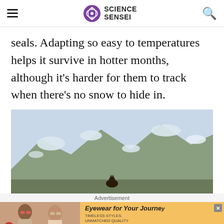SCIENCE SENSEI
seals. Adapting so easy to temperatures helps it survive in hotter months, although it's harder for them to track when there's no snow to hide in.
[Figure (photo): Mountain landscape with patches of snow on rocky slopes and a glimpse of a small animal at the bottom center]
Advertisement
[Figure (infographic): Advertisement banner: Eyewear for Your Journey - Timeless Styles, Unmatched Quality - Shop Now button, showing two women wearing sunglasses]